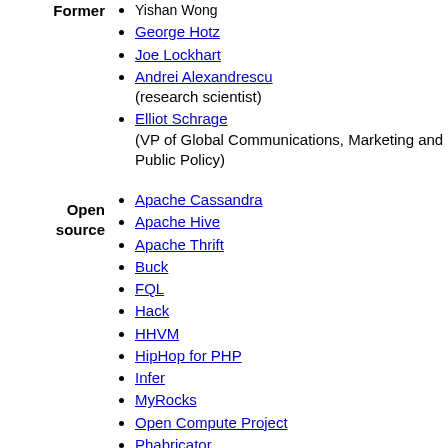Yishan Wong
Former
George Hotz
Joe Lockhart
Andrei Alexandrescu (research scientist)
Elliot Schrage (VP of Global Communications, Marketing and Public Policy)
Open source
Apache Cassandra
Apache Hive
Apache Thrift
Buck
FQL
Hack
HHVM
HipHop for PHP
Infer
MyRocks
Open Compute Project
Phabricator
React